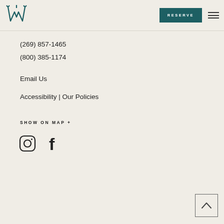[Figure (logo): Stylized W monogram logo with decorative serifs]
RESERVE
(269) 857-1465
(800) 385-1174
Email Us
Accessibility | Our Policies
SHOW ON MAP +
[Figure (infographic): Instagram and Facebook social media icons]
[Figure (other): Back to top arrow button]